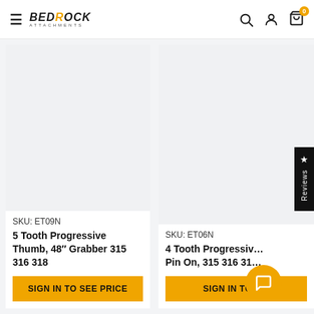Bedrock Attachments - navigation header with hamburger menu, logo, search, account, and cart icons
SKU: ET09N
5 Tooth Progressive Thumb, 48″ Grabber 315 316 318
SIGN IN TO SEE PRICE
SKU: ET06N
4 Tooth Progressive ... Pin On, 315 316 31...
SIGN IN TO S...
★ Reviews